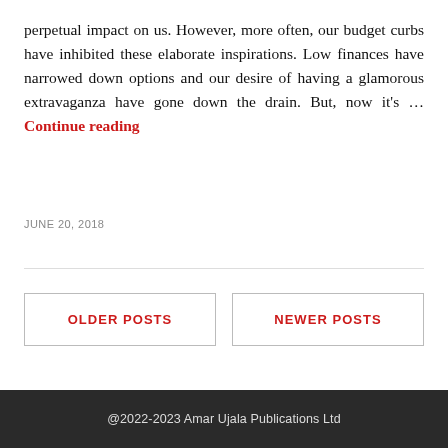perpetual impact on us. However, more often, our budget curbs have inhibited these elaborate inspirations. Low finances have narrowed down options and our desire of having a glamorous extravaganza have gone down the drain. But, now it's … Continue reading
JUNE 20, 2018
OLDER POSTS
NEWER POSTS
•••
@2022-2023 Amar Ujala Publications Ltd